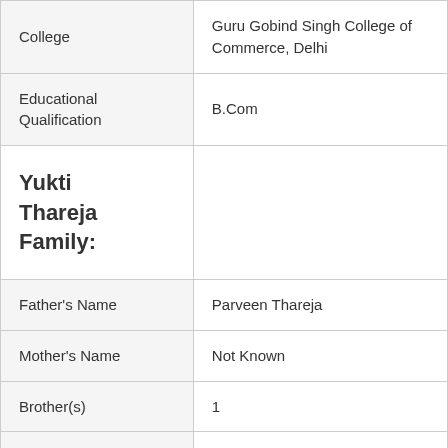| College | Guru Gobind Singh College of Commerce, Delhi |
| Educational Qualification | B.Com |
| Yukti Thareja Family: |  |
| Father's Name | Parveen Thareja |
| Mother's Name | Not Known |
| Brother(s) | 1 |
| Sister(s) | Not Known |